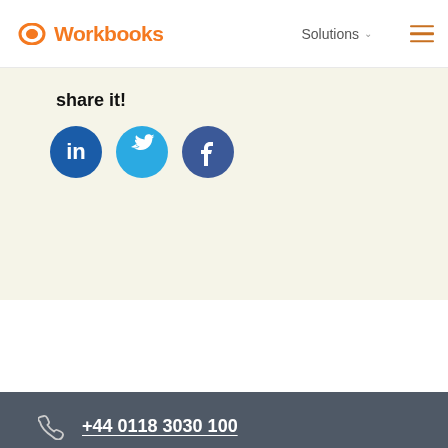Workbooks — Solutions
share it!
[Figure (illustration): Three social media share buttons: LinkedIn (dark blue), Twitter (light blue), Facebook (dark blue), each as a circle with the platform icon in white]
+44 0118 3030 100